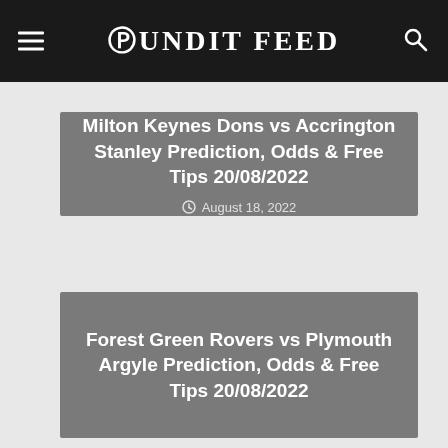Pundit Feed
Milton Keynes Dons vs Accrington Stanley Prediction, Odds & Free Tips 20/08/2022
August 18, 2022
Forest Green Rovers vs Plymouth Argyle Prediction, Odds & Free Tips 20/08/2022